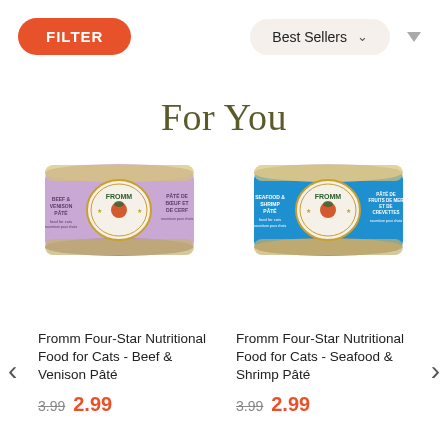[Figure (screenshot): Orange FILTER button on left, Best Sellers dropdown with chevron and down arrow on right]
For You
[Figure (photo): Fromm Four-Star cat food can with purple label - Beef & Venison Pâté]
[Figure (photo): Fromm Four-Star cat food can with blue label - Seafood & Shrimp Pâté]
Fromm Four-Star Nutritional Food for Cats - Beef & Venison Pâté
3.99    2.99
Fromm Four-Star Nutritional Food for Cats - Seafood & Shrimp Pâté
3.99    2.99